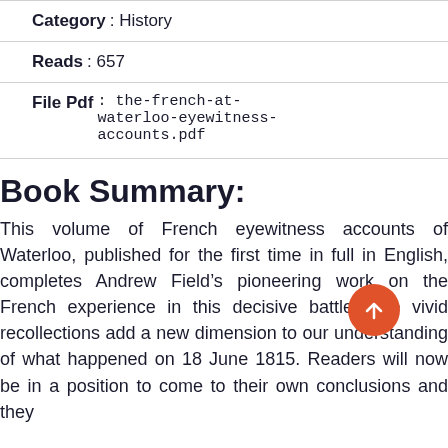Category : History
Reads : 657
File Pdf: the-french-at-waterloo-eyewitness-accounts.pdf
Book Summary:
This volume of French eyewitness accounts of Waterloo, published for the first time in full in English, completes Andrew Field’s pioneering work on the French experience in this decisive battle. The vivid recollections add a new dimension to our understanding of what happened on 18 June 1815. Readers will now be in a position to come to their own conclusions and they